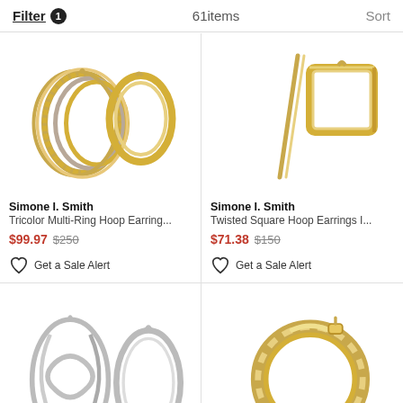Filter 1  61items  Sort
[Figure (photo): Gold tricolor multi-ring hoop earrings on white background]
Simone I. Smith
Tricolor Multi-Ring Hoop Earring...
$99.97 $250
Get a Sale Alert
[Figure (photo): Gold twisted square hoop earrings on white background]
Simone I. Smith
Twisted Square Hoop Earrings I...
$71.38 $150
Get a Sale Alert
[Figure (photo): Silver twisted oval hoop earrings on white background]
[Figure (photo): Gold twisted round hoop earrings on white background]